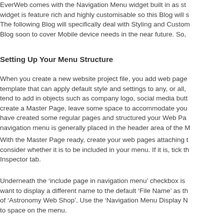EverWeb comes with the Navigation Menu widget built in as st... widget is feature rich and highly customisable so this Blog will s... The following Blog will specifically deal with Styling and Custom... Blog soon to cover Mobile device needs in the near future. So,
Setting Up Your Menu Structure
When you create a new website project file, you add web page... template that can apply default style and settings to any, or all,... tend to add in objects such as company logo, social media butt... create a Master Page, leave some space to accommodate you... have created some regular pages and structured your Web Pa... navigation menu is generally placed in the header area of the M
With the Master Page ready, create your web pages attaching t... consider whether it is to be included in your menu. If it is, tick th... Inspector tab.
Underneath the ‘include page in navigation menu’ checkbox is... want to display a different name to the default ‘File Name’ as th... of ‘Astronomy Web Shop’. Use the ‘Navigation Menu Display N... to space on the menu.